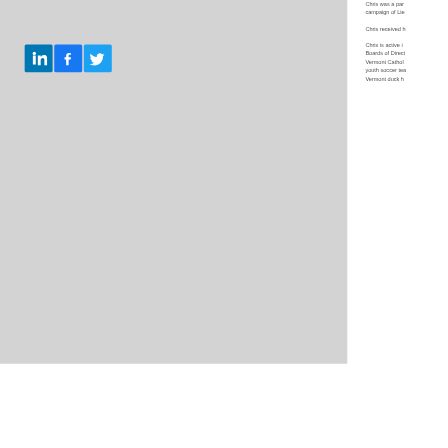[Figure (illustration): Gray rectangle panel on the left side containing LinkedIn, Facebook, and Twitter social media icons]
Chris was a par campaign of Lie
Chris received h
Chris is active i Boards of Direct Vermont Cathol youth soccer tea Vermont duck h